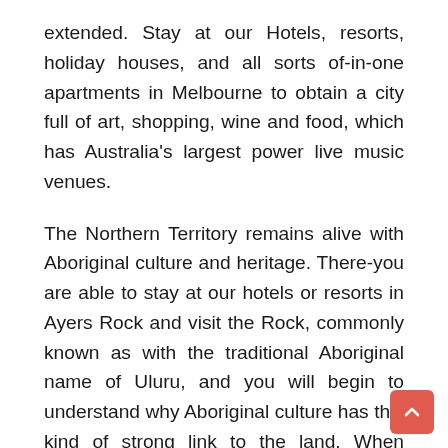extended. Stay at our Hotels, resorts, holiday houses, and all sorts of-in-one apartments in Melbourne to obtain a city full of art, shopping, wine and food, which has Australia's largest power live music venues.
The Northern Territory remains alive with Aboriginal culture and heritage. There-you are able to stay at our hotels or resorts in Ayers Rock and visit the Rock, commonly known as with the traditional Aboriginal name of Uluru, and you will begin to understand why Aboriginal culture has this kind of strong link to the land. When you're inside the Territory, you can check out an amazing tropical wetland, Kakadu Park that teeming with existence.